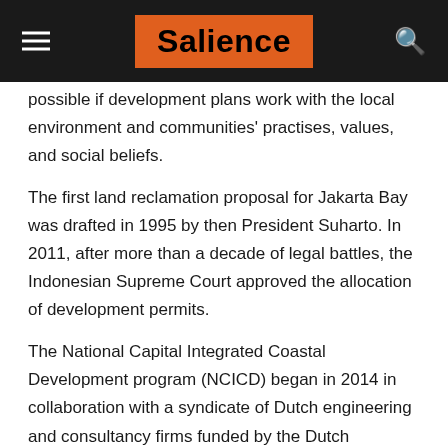Salience
possible if development plans work with the local environment and communities' practises, values, and social beliefs.
The first land reclamation proposal for Jakarta Bay was drafted in 1995 by then President Suharto. In 2011, after more than a decade of legal battles, the Indonesian Supreme Court approved the allocation of development permits.
The National Capital Integrated Coastal Development program (NCICD) began in 2014 in collaboration with a syndicate of Dutch engineering and consultancy firms funded by the Dutch government. They plan to augment the existing sea wall along Jakarta Bay, construct a Western and Eastern outer sea wall, and 17 islands that would act as additional sea barriers.